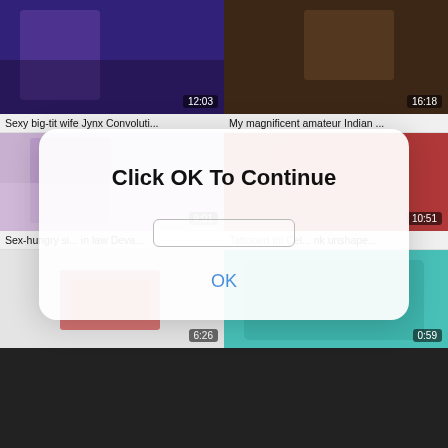[Figure (screenshot): Video thumbnail grid with 6 video thumbnails arranged in 2 columns and 3 rows, showing various video content with duration badges. A modal dialog overlay displays 'Click OK To Continue' with an OK button.]
Sexy big-tit wife Jynx Convoluti...
My magnificent amateur Indian ...
Sex-hungry si... in law Deva...
Tattooed thi Cel... nk unshape...
Click OK To Continue
OK